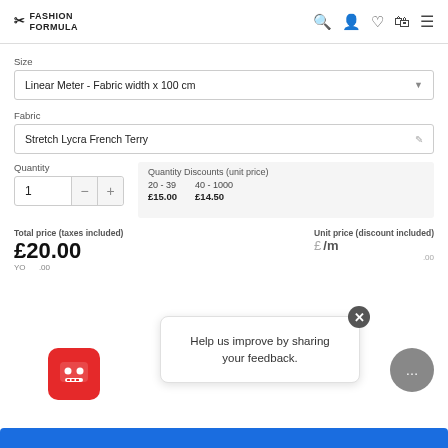FASHION FORMULA
Size
Linear Meter - Fabric width x 100 cm
Fabric
Stretch Lycra French Terry
Quantity
1
Quantity Discounts (unit price)
20 - 39  £15.00
40 - 1000  £14.50
Total price (taxes included)
£20.00
Unit price (discount included)
/m
Help us improve by sharing your feedback.